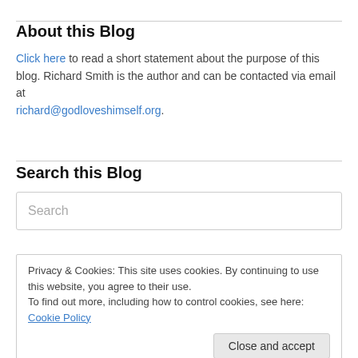About this Blog
Click here to read a short statement about the purpose of this blog. Richard Smith is the author and can be contacted via email at richard@godloveshimself.org.
Search this Blog
Search
Privacy & Cookies: This site uses cookies. By continuing to use this website, you agree to their use. To find out more, including how to control cookies, see here: Cookie Policy
Close and accept